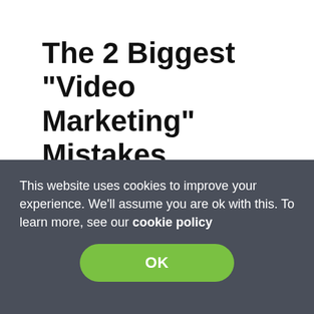The 2 Biggest "Video Marketing" Mistakes
[Figure (illustration): A circular grey badge with a red bold number '1' overlapping it, followed by a play button triangle icon, and text 'Invest Too Much In Setting Up']
Invest Too Much In Setting Up
This website uses cookies to improve your experience. We'll assume you are ok with this. To learn more, see our cookie policy
OK